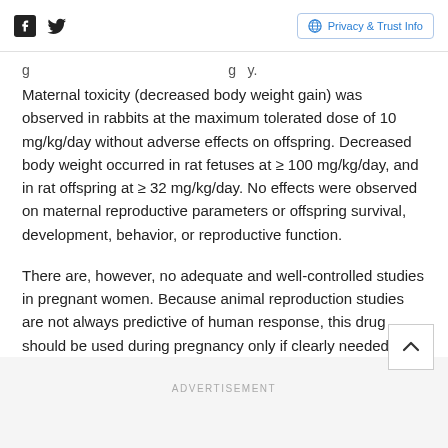Social icons and Privacy & Trust Info button
...g...y... ...g...y. Maternal toxicity (decreased body weight gain) was observed in rabbits at the maximum tolerated dose of 10 mg/kg/day without adverse effects on offspring. Decreased body weight occurred in rat fetuses at ≥ 100 mg/kg/day, and in rat offspring at ≥ 32 mg/kg/day. No effects were observed on maternal reproductive parameters or offspring survival, development, behavior, or reproductive function.
There are, however, no adequate and well-controlled studies in pregnant women. Because animal reproduction studies are not always predictive of human response, this drug should be used during pregnancy only if clearly needed.
ADVERTISEMENT